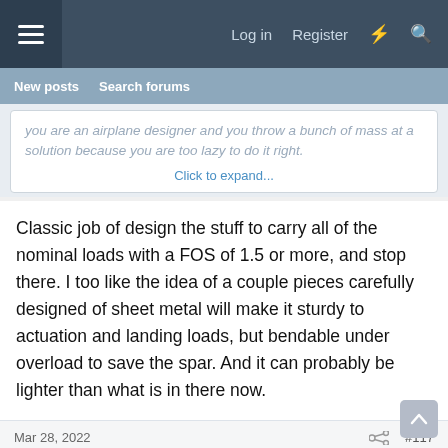Log in  Register
New posts  Search forums
you are an airplane designer and you throw a bunch of mass at a solution because you are too lazy to do it right.
Click to expand...
Classic job of design the stuff to carry all of the nominal loads with a FOS of 1.5 or more, and stop there. I too like the idea of a couple pieces carefully designed of sheet metal will make it sturdy to actuation and landing loads, but bendable under overload to save the spar. And it can probably be lighter than what is in there now.
Mar 28, 2022  #117
wsimpso1
Super Moderator  Staff member
Marc Zeitlin said: